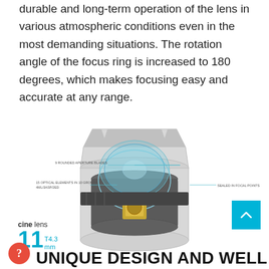durable and long-term operation of the lens in various atmospheric conditions even in the most demanding situations. The rotation angle of the focus ring is increased to 180 degrees, which makes focusing easy and accurate at any range.
[Figure (engineering-diagram): Cross-section cutaway diagram of a cine lens (11mm T4.3) showing internal optical elements, aperture blades, and sealed focal points. Labels point to: 9 ROUNDED APERTURE BLADES, 15 OPTICAL ELEMENTS IN 10 GROUPS (4ML/3ASP/2ED), SEALED IN FOCAL POINTS. Below the diagram: 'cine lens' label and '11 T4.3 mm' specification in cyan.]
UNIQUE DESIGN AND WELL